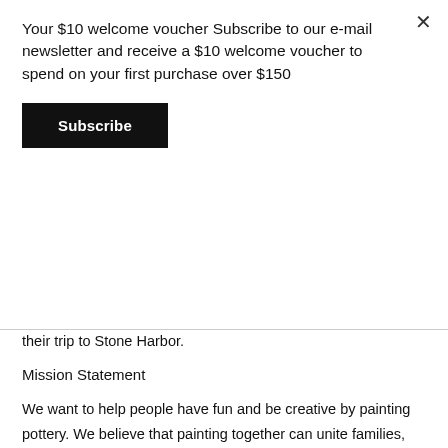Your $10 welcome voucher Subscribe to our e-mail newsletter and receive a $10 welcome voucher to spend on your first purchase over $150
Subscribe
their trip to Stone Harbor.
Mission Statement
We want to help people have fun and be creative by painting pottery. We believe that painting together can unite families, improve mental health and wellness, and make the world a better place.
For over 16 years, Island Studio's mission has been to provide a fun atmosphere for families to paint pottery at the Jersey Shore. Operating since 2004 in Stone Harbor, Island Studio offers ceramics and paint your own pottery kits for locals and visitors